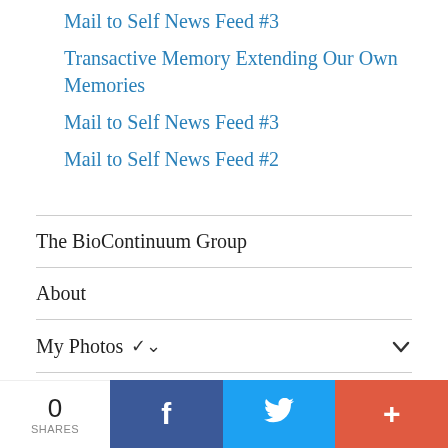Mail to Self News Feed #3
Transactive Memory Extending Our Own Memories
Mail to Self News Feed #3
Mail to Self News Feed #2
The BioContinuum Group
About
My Photos
Documentary Film
0 SHARES
[Figure (other): Social share bar with Facebook, Twitter, and plus buttons]